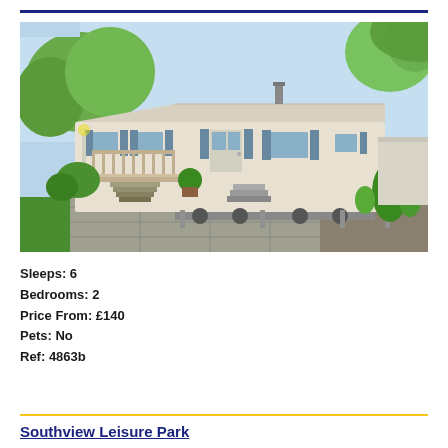[Figure (photo): Exterior photo of a static caravan/mobile home with blue shutters and steps, surrounded by garden, trees and grass on a sunny day at Southview Leisure Park]
Sleeps: 6
Bedrooms: 2
Price From: £140
Pets: No
Ref: 4863b
Southview Leisure Park